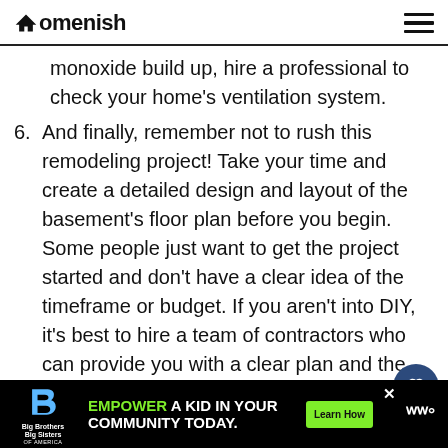Homenish
monoxide build up, hire a professional to check your home's ventilation system.
6. And finally, remember not to rush this remodeling project! Take your time and create a detailed design and layout of the basement's floor plan before you begin. Some people just want to get the project started and don't have a clear idea of the timeframe or budget. If you aren't into DIY, it's best to hire a team of contractors who can provide you with a clear plan and the scope of the project.
[Figure (infographic): Advertisement banner: Big Brothers Big Sisters logo, 'Empower a Kid in Your Community Today.' with Learn How button]